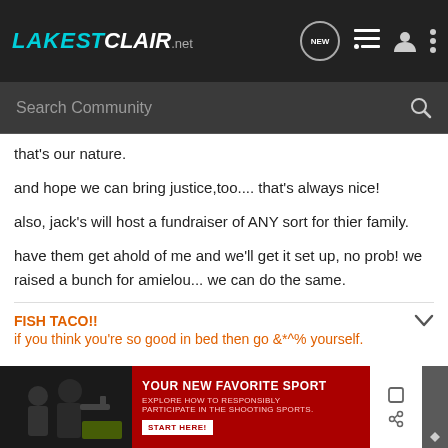[Figure (screenshot): LakeStClair.net website header with navigation bar]
[Figure (screenshot): Search Community search bar]
that's our nature.
and hope we can bring justice,too.... that's always nice!
also, jack's will host a fundraiser of ANY sort for thier family.
have them get ahold of me and we'll get it set up, no prob!  we raised a bunch for amielou... we can do the same.
FISH TACO!!
if you think you&#39;re so good in bed then go &*^% yourself.
[Figure (screenshot): Advertisement banner: YOUR NEW FAVORITE SPORT - Explore how to responsibly participate in the shooting sports. START HERE!]